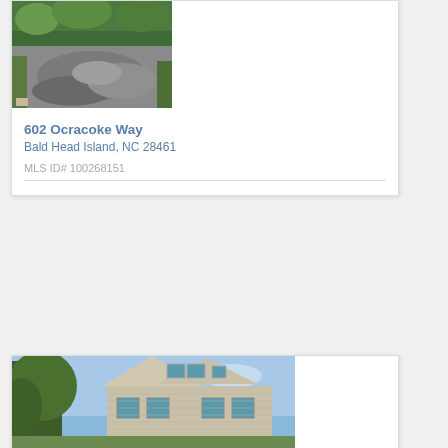[Figure (photo): Driveway with asphalt surface surrounded by trees and vegetation]
602 Ocracoke Way
Bald Head Island, NC 28461
MLS ID# 100268151
[Figure (photo): Exterior of a coastal-style house with blue sky, trees, and white siding with teal window accents]